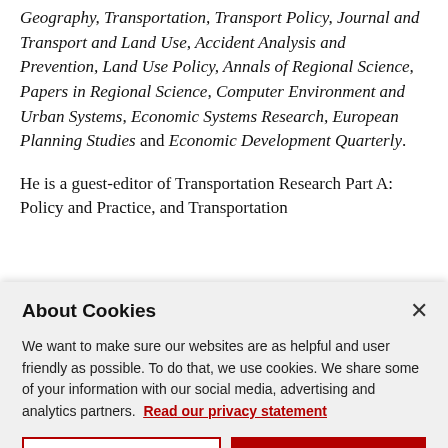Geography, Transportation, Transport Policy, Journal and Transport and Land Use, Accident Analysis and Prevention, Land Use Policy, Annals of Regional Science, Papers in Regional Science, Computer Environment and Urban Systems, Economic Systems Research, European Planning Studies and Economic Development Quarterly.
He is a guest-editor of Transportation Research Part A: Policy and Practice, and Transportation
About Cookies
We want to make sure our websites are as helpful and user friendly as possible. To do that, we use cookies. We share some of your information with our social media, advertising and analytics partners. Read our privacy statement